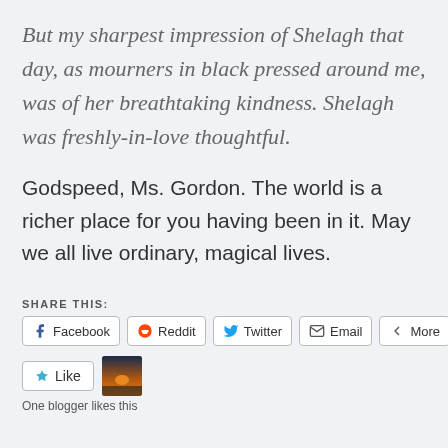But my sharpest impression of Shelagh that day, as mourners in black pressed around me, was of her breathtaking kindness. Shelagh was freshly-in-love thoughtful.
Godspeed, Ms. Gordon. The world is a richer place for you having been in it. May we all live ordinary, magical lives.
SHARE THIS:
[Figure (screenshot): Social sharing buttons: Facebook, Reddit, Twitter, Email, More]
[Figure (screenshot): Like button with star icon, and a small thumbnail image of a sunset]
One blogger likes this